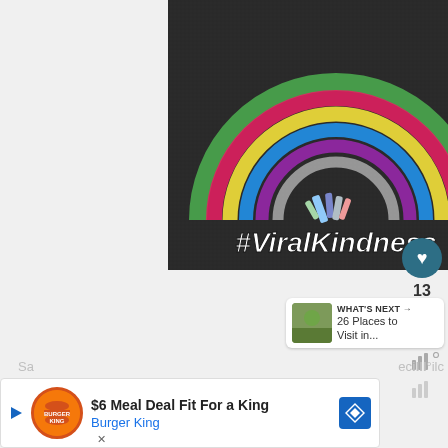[Figure (photo): A chalk rainbow drawn on dark asphalt with chalk pieces at the base, overlaid with bold white italic text reading '#ViralKindness']
13
WHAT'S NEXT → 26 Places to Visit in...
$6 Meal Deal Fit For a King
Burger King